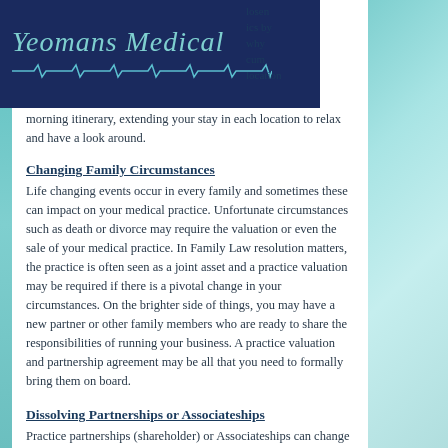[Figure (logo): Yeomans Medical logo in cursive teal text on dark navy background with ECG line beneath]
losen ics by why cum location
morning itinerary, extending your stay in each location to relax and have a look around.
Changing Family Circumstances
Life changing events occur in every family and sometimes these can impact on your medical practice. Unfortunate circumstances such as death or divorce may require the valuation or even the sale of your medical practice. In Family Law resolution matters, the practice is often seen as a joint asset and a practice valuation may be required if there is a pivotal change in your circumstances. On the brighter side of things, you may have a new partner or other family members who are ready to share the responsibilities of running your business. A practice valuation and partnership agreement may be all that you need to formally bring them on board.
Dissolving Partnerships or Associateships
Practice partnerships (shareholder) or Associateships can change several times in the life of a practice as